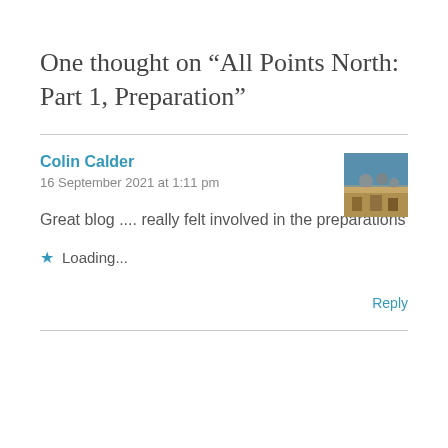One thought on “All Points North: Part 1, Preparation”
Colin Calder
16 September 2021 at 1:11 pm
[Figure (photo): Avatar/profile photo thumbnail of Colin Calder showing people outdoors]
Great blog .... really felt involved in the preparations
Loading...
Reply